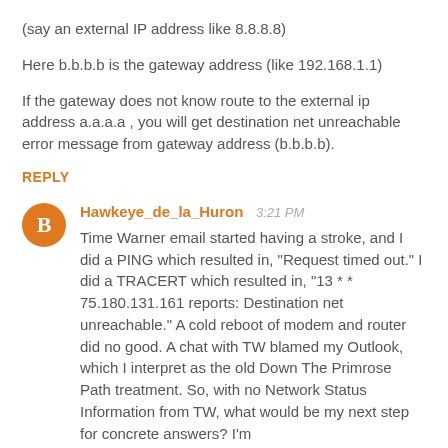(say an external IP address like 8.8.8.8)
Here b.b.b.b is the gateway address (like 192.168.1.1)
If the gateway does not know route to the external ip address a.a.a.a , you will get destination net unreachable error message from gateway address (b.b.b.b).
REPLY
Hawkeye_de_la_Huron  3:21 PM
Time Warner email started having a stroke, and I did a PING which resulted in, "Request timed out." I did a TRACERT which resulted in, "13 * * 75.180.131.161 reports: Destination net unreachable." A cold reboot of modem and router did no good. A chat with TW blamed my Outlook, which I interpret as the old Down The Primrose Path treatment. So, with no Network Status Information from TW, what would be my next step for concrete answers? I'm